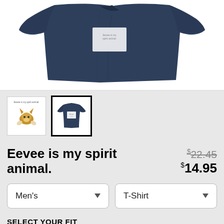[Figure (photo): Navy blue t-shirt laid flat, showing the back/folded view against a white background]
[Figure (photo): Thumbnail 1: Eevee character illustration with text 'Eevee is my spirit animal.']
[Figure (photo): Thumbnail 2 (selected): Navy t-shirt with Eevee graphic on front, selected with bold border]
Eevee is my spirit animal.
$22.45 (strikethrough original price) $14.95 (sale price)
Men's (dropdown) | T-Shirt (dropdown)
SELECT YOUR FIT